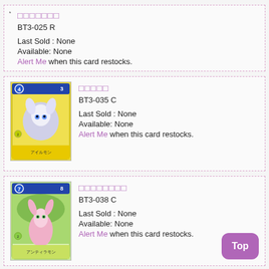□□□□□□□
BT3-025 R
Last Sold : None
Available: None
Alert Me when this card restocks.
[Figure (photo): Digimon card image for アイルモン, BT3-035 C, yellow card with dark creature artwork]
□□□□□
BT3-035 C
Last Sold : None
Available: None
Alert Me when this card restocks.
[Figure (photo): Digimon card image for アンティラモン, BT3-038 C, card with pink creature artwork]
□□□□□□□□
BT3-038 C
Last Sold : None
Available: None
Alert Me when this card restocks.